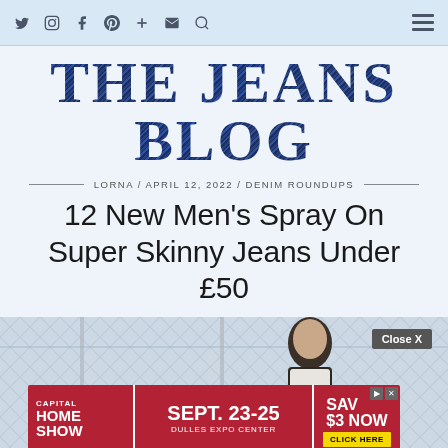Navigation bar with social icons: Twitter, Instagram, Facebook, Pinterest, Plus, Email, Search, and hamburger menu
[Figure (logo): THE JEANS BLOG logo in large denim-textured navy block letters]
LORNA / APRIL 12, 2022 / DENIM ROUNDUPS
12 New Men's Spray On Super Skinny Jeans Under £50
[Figure (photo): Man standing against a chain-link fence, with a Capital Home Show advertisement banner overlay showing SEPT. 23-25 DULLES EXPO CENTER and SAV $3 NOW CLICK HERE, plus a Close X button]